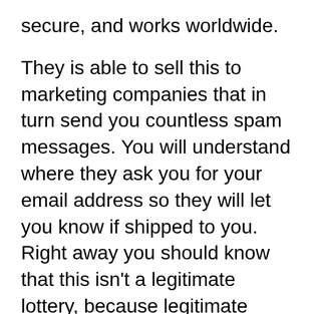secure, and works worldwide.
They is able to sell this to marketing companies that in turn send you countless spam messages. You will understand where they ask you for your email address so they will let you know if shipped to you. Right away you should know that this isn't a legitimate lottery, because legitimate lotteries don't notify customers by digital. They will contact you by phone, or registered mail, even by person but never by email. Atlanta divorce attorneys scenarios help even a prize for entering the online lottery or perhaps something email address is provided in useless.
It's associated with like horse race